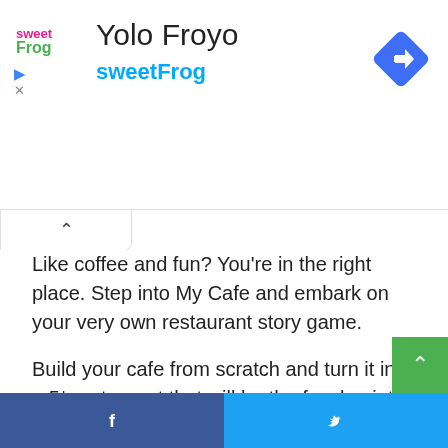[Figure (logo): sweetFrog frozen yogurt brand logo in pink/green text]
Yolo Froyo
sweetFrog
[Figure (other): Blue diamond navigation/directions icon in top right]
Like coffee and fun? You’re in the right place. Step into My Cafe and embark on your very own restaurant story game.
Build your cafe from scratch and turn it into a 5* restaurant that will be the focal point of the city. Expand your MyCafe empire and show the world of cooking games what success really looks like. Ready? Let’s go!
[Figure (other): Facebook and Twitter social share buttons at the bottom]